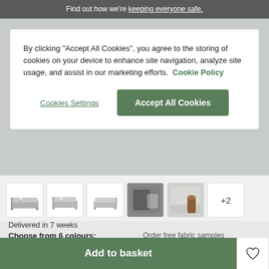Find out how we're keeping everyone safe.
By clicking “Accept All Cookies”, you agree to the storing of cookies on your device to enhance site navigation, analyze site usage, and assist in our marketing efforts. Cookie Policy
Cookies Settings
Accept All Cookies
[Figure (photo): Six product thumbnails of sofas/sectionals in light grey fabric, plus a '+2' tile indicating more images]
Delivered in 7 weeks
Choose from 6 colours:
Order free fabric samples
Add to basket